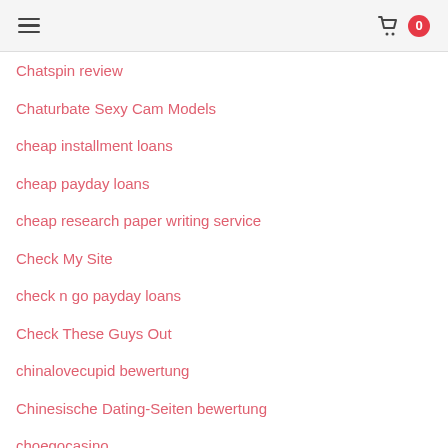☰  [cart] 0
Chatspin review
Chaturbate Sexy Cam Models
cheap installment loans
cheap payday loans
cheap research paper writing service
Check My Site
check n go payday loans
Check These Guys Out
chinalovecupid bewertung
Chinesische Dating-Seiten bewertung
choegocasino